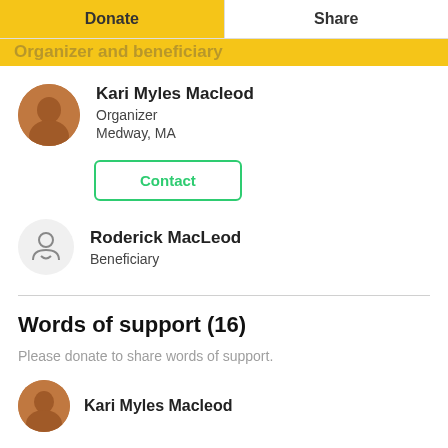Donate | Share
Organizer and beneficiary
Kari Myles Macleod
Organizer
Medway, MA
Contact
Roderick MacLeod
Beneficiary
Words of support (16)
Please donate to share words of support.
Kari Myles Macleod